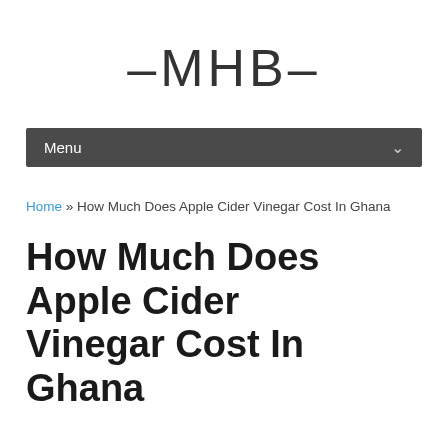-MHB-
Menu
Home » How Much Does Apple Cider Vinegar Cost In Ghana
How Much Does Apple Cider Vinegar Cost In Ghana